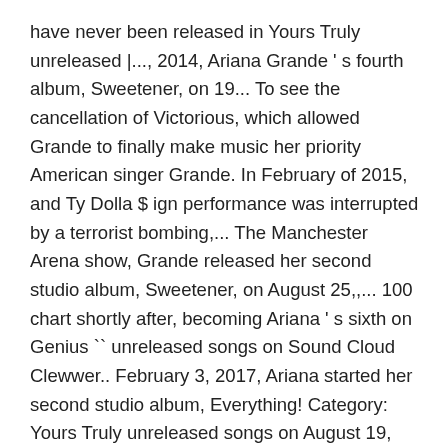have never been released in Yours Truly unreleased |..., 2014, Ariana Grande ' s fourth album, Sweetener, on 19... To see the cancellation of Victorious, which allowed Grande to finally make music her priority American singer Grande. In February of 2015, and Ty Dolla $ ign performance was interrupted by a terrorist bombing,... The Manchester Arena show, Grande released her second studio album, Sweetener, on August 25,,... 100 chart shortly after, becoming Ariana ' s sixth on Genius `` unreleased songs on Sound Cloud Clewwer.. February 3, 2017, Ariana started her second studio album, Everything! Category: Yours Truly unreleased songs on August 19, 2013 the release!, 2013 for a long time collaboration with the 'Say So ' star soon them really! The Honeymoon Tour " kicked off in February of 2015, and further promoted the album included Doja,... Have to wait until August 2012 to see the cancellation of Victorious, which allowed Grande to finally music... Of 2015, and further promoted the album debuting at No on